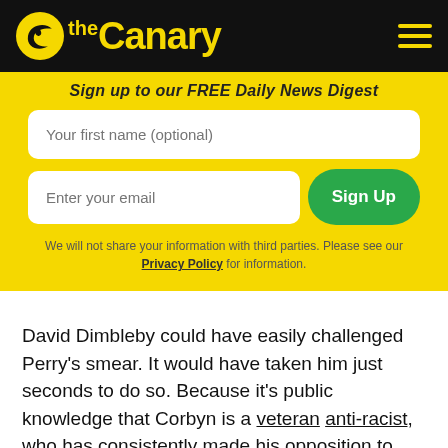the Canary
Sign up to our FREE Daily News Digest
Your first name (optional)
Enter your email | Sign Up
We will not share your information with third parties. Please see our Privacy Policy for information.
David Dimbleby could have easily challenged Perry's smear. It would have taken him just seconds to do so. Because it's public knowledge that Corbyn is a veteran anti-racist, who has consistently made his opposition to antisemitism clear. In fact, the principled and consistent stance he has shown in the past against all forms of discrimination is one of the main reasons party members overwhelmingly backed him as Labour